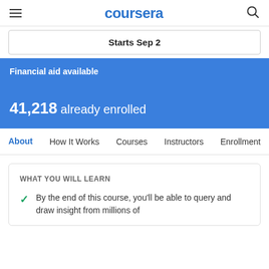coursera
Starts Sep 2
Financial aid available
41,218 already enrolled
About  How It Works  Courses  Instructors  Enrollment
WHAT YOU WILL LEARN
By the end of this course, you'll be able to query and draw insight from millions of